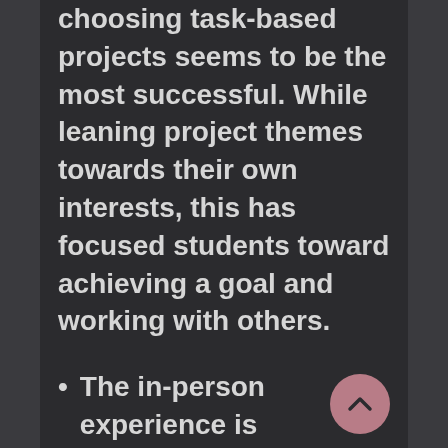choosing task-based projects seems to be the most successful. While leaning project themes towards their own interests, this has focused students toward achieving a goal and working with others.
The in-person experience is perceived as higher quality by students. I will continue to provide this course delivery as much as possible.